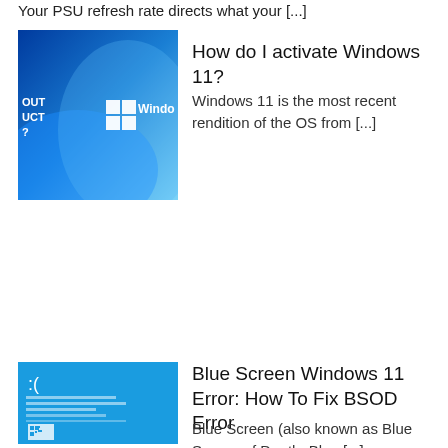Your PSU refresh rate directs what your [...]
[Figure (screenshot): Windows 11 promotional image with blue gradient background and Windows logo]
How do I activate Windows 11?
Windows 11 is the most recent rendition of the OS from [...]
[Figure (screenshot): Blue Screen of Death (BSOD) Windows 11 error screen with sad face and QR code]
Blue Screen Windows 11 Error: How To Fix BSOD Error
Blue Screen (also known as Blue Screen of Death, Blue [...]